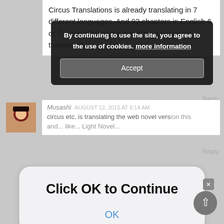Circus Translations is already translating in 7 different languages. And 92 chapters in English 6 or 7 in the others so it would be a waste to translate this
[Figure (screenshot): Cookie consent banner overlay with dark background reading: 'By continuing to use the site, you agree to the use of cookies. more information' and an Accept button]
Musashi   AUGUST 12, 2015 AT 6:14 AM
circus etc. is translating the web novel version this and... Light Novel...
[Figure (screenshot): iOS-style dialog overlay with rounded white background, bold text 'Click OK to Continue' and a blue 'OK' button]
OverTheRainbow
This is the Light Novel, not the Web Novel.
Reply
ANONIMOS   OCTOBER 9, 2015 AT 12:29 PM
I commented to say how it would suck for you